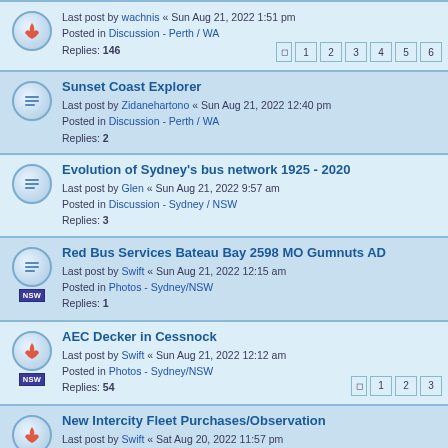Last post by wachnis « Sun Aug 21, 2022 1:51 pm
Posted in Discussion - Perth / WA
Replies: 146
Pages: 1 2 3 4 5 6
Sunset Coast Explorer
Last post by Zidanehartono « Sun Aug 21, 2022 12:40 pm
Posted in Discussion - Perth / WA
Replies: 2
Evolution of Sydney's bus network 1925 - 2020
Last post by Glen « Sun Aug 21, 2022 9:57 am
Posted in Discussion - Sydney / NSW
Replies: 3
Red Bus Services Bateau Bay 2598 MO Gumnuts AD
Last post by Swift « Sun Aug 21, 2022 12:15 am
Posted in Photos - Sydney/NSW
Replies: 1
AEC Decker in Cessnock
Last post by Swift « Sun Aug 21, 2022 12:12 am
Posted in Photos - Sydney/NSW
Replies: 54
Pages: 1 2 3
New Intercity Fleet Purchases/Observation
Last post by Swift « Sat Aug 20, 2022 11:57 pm
Posted in Discussion - Sydney / NSW
Replies: 1077
Pages: 1 ... 41 42 43 44
Least frequent bus service in Australia or New Zealand
Last post by MotorOmnibus8562 « Sat Aug 20, 2022 8:22 pm
Posted in General Transport Discussion
Replies: 24
Custom Denning Discussion / Observations